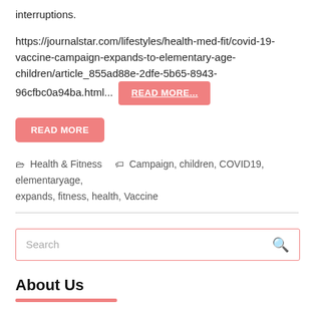interruptions.
https://journalstar.com/lifestyles/health-med-fit/covid-19-vaccine-campaign-expands-to-elementary-age-children/article_855ad88e-2dfe-5b65-8943-96cfbc0a94ba.html... READ MORE...
READ MORE
Health & Fitness   Campaign, children, COVID19, elementaryage, expands, fitness, health, Vaccine
Search
About Us